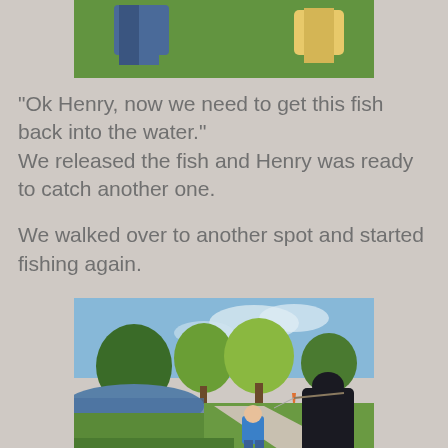[Figure (photo): Partial view of people standing on grass, seen from waist down — one in jeans, one in yellow shirt]
"Ok Henry, now we need to get this fish back into the water."
We released the fish and Henry was ready to catch another one.

We walked over to another spot and started fishing again.
[Figure (photo): Outdoor park scene by a pond with trees and a winding path; a young boy in a blue shirt and an adult in a dark hoodie holding a fishing rod are visible]